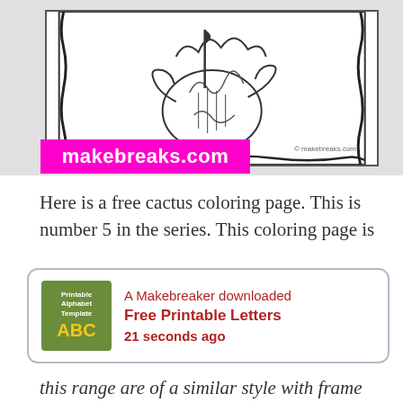[Figure (illustration): Coloring page thumbnail showing a decorative cactus with ornate frame border, black and white line art. A magenta/pink bar overlay reads 'makebreaks.com'. Small watermark text '© makebreaks.com' visible on the coloring sheet.]
Here is a free cactus coloring page. This is number 5 in the series. This coloring page is
[Figure (infographic): Notification popup box with green icon showing 'Printable Alphabet Template ABC' text and logo. Text reads: 'A Makebreaker downloaded / Free Printable Letters / 21 seconds ago']
this range are of a similar style with frame and will...